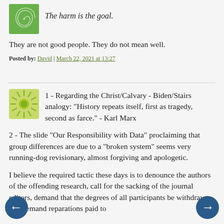The harm is the goal.
They are not good people. They do not mean well.
Posted by: David | March 22, 2021 at 13:27
1 - Regarding the Christ/Calvary - Biden/Stairs analogy: "History repeats itself, first as tragedy, second as farce." - Karl Marx
2 - The slide "Our Responsibility with Data" proclaiming that group differences are due to a "broken system" seems very running-dog revisionary, almost forgiving and apologetic.
I believe the required tactic these days is to denounce the authors of the offending research, call for the sacking of the journal editors, demand that the degrees of all participants be withdrawn, and demand reparations paid to